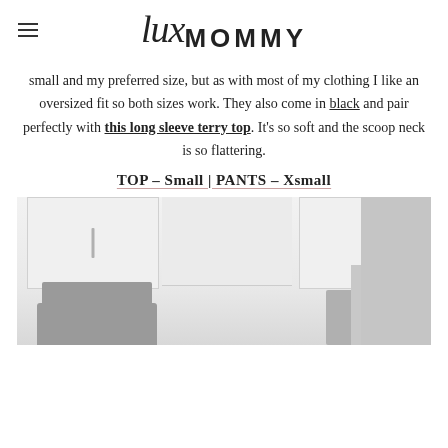lux MOMMY
small and my preferred size, but as with most of my clothing I like an oversized fit so both sizes work. They also come in black and pair perfectly with this long sleeve terry top. It's so soft and the scoop neck is so flattering.
TOP – Small | PANTS – Xsmall
[Figure (photo): Kitchen interior photo showing white upper cabinets with metal bar pulls, a stainless steel range hood, and kitchen counter stools, taken from a low angle in a bright, airy kitchen.]